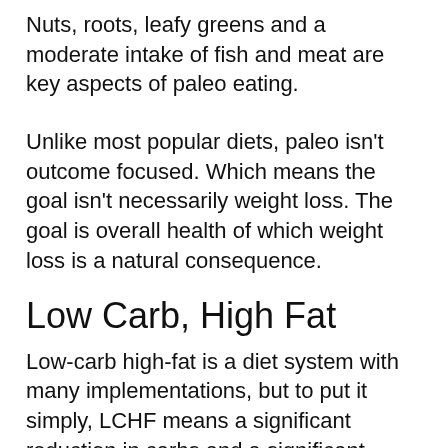Nuts, roots, leafy greens and a moderate intake of fish and meat are key aspects of paleo eating.
Unlike most popular diets, paleo isn't outcome focused. Which means the goal isn't necessarily weight loss. The goal is overall health of which weight loss is a natural consequence.
Low Carb, High Fat
Low-carb high-fat is a diet system with many implementations, but to put it simply, LCHF means a significant reduction in carbs and a significant increase in fats in the diet.